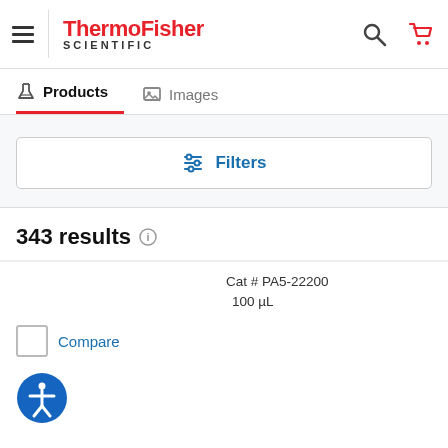[Figure (screenshot): ThermoFisher Scientific website header with hamburger menu, logo, search icon, and cart icon]
ThermoFisher SCIENTIFIC
Products   Images
Filters
343 results
Cat # PA5-22200
100 µL
Compare